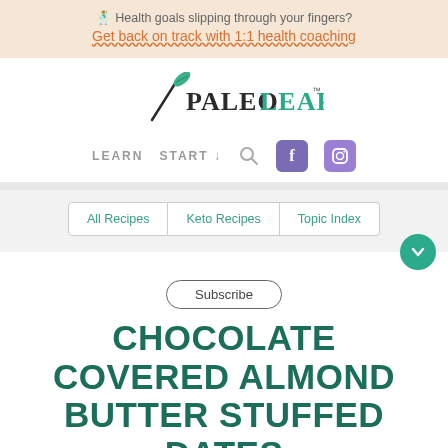🕺 Health goals slipping through your fingers?
Get back on track with 1:1 health coaching
[Figure (logo): PaleoLeap logo with leaf and fork icon]
LEARN  START ↓  🔍  f  Instagram
All Recipes  |  Keto Recipes  |  Topic Index
Subscribe
CHOCOLATE COVERED ALMOND BUTTER STUFFED DATES
[Figure (illustration): Social share icons: Facebook, Pinterest, Twitter]